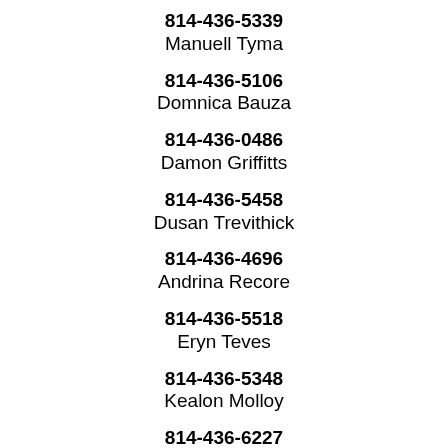814-436-5339
Manuell Tyma
814-436-5106
Domnica Bauza
814-436-0486
Damon Griffitts
814-436-5458
Dusan Trevithick
814-436-4696
Andrina Recore
814-436-5518
Eryn Teves
814-436-5348
Kealon Molloy
814-436-6227
Phornello Stile
814-436-1102
Hezekia Storck